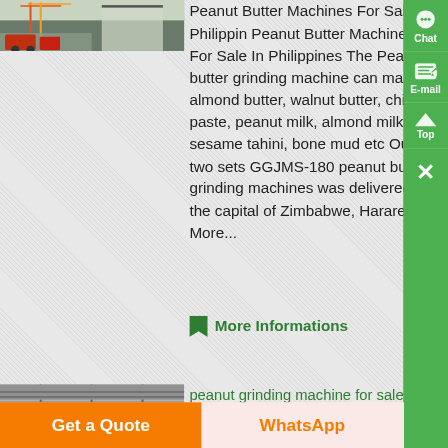[Figure (photo): Construction site with cranes and machinery, outdoor scene]
Peanut Butter Machines For Sale In Philippin Peanut Butter Machines For Sale In Philippines The Peanut butter grinding machine can make almond butter, walnut butter, chili paste, peanut milk, almond milk, sesame tahini, bone mud etc Our two sets GGJMS-180 peanut butter grinding machines was delivered to the capital of Zimbabwe, Harare More...
More Informations
[Figure (photo): Industrial warehouse interior, black and white, large open space with overhead cranes]
peanut grinding machine for sale in the philippines
Get a Quote
WhatsApp